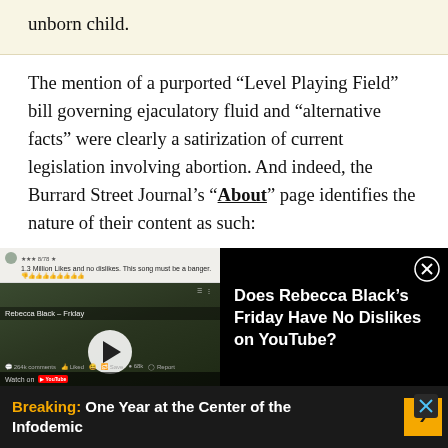unborn child.
The mention of a purported “Level Playing Field” bill governing ejaculatory fluid and “alternative facts” were clearly a satirization of current legislation involving abortion. And indeed, the Burrard Street Journal’s “About” page identifies the nature of their content as such:
[Figure (screenshot): Embedded video player overlay showing YouTube video of Rebecca Black Friday, with comment '1.3 Million Likes and no dislikes. This song must be a banger.' On the right side black panel reads 'Does Rebecca Black's Friday Have No Dislikes on YouTube?']
[Figure (screenshot): Advertisement bar at bottom: Breaking: One Year at the Center of the Infodemic, with yellow arrow button and X close button]